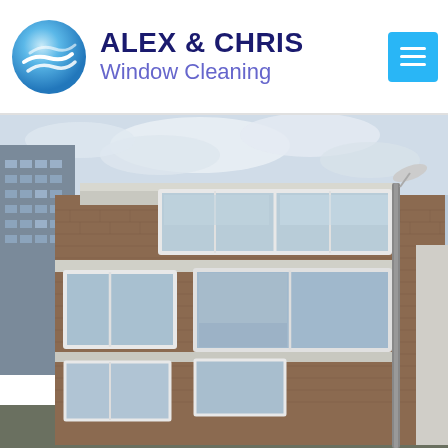[Figure (logo): Alex & Chris Window Cleaning logo with blue globe/water swirl icon, company name in dark navy bold uppercase 'ALEX & CHRIS' and subtitle 'Window Cleaning' in purple, plus a cyan hamburger menu button top right]
[Figure (photo): Photograph of a multi-storey brick residential building facade shot from a low angle, showing large white-framed windows, a downpipe, overcast sky, and a leafless tree visible in window reflections. A green WhatsApp floating button is overlaid at the bottom right.]